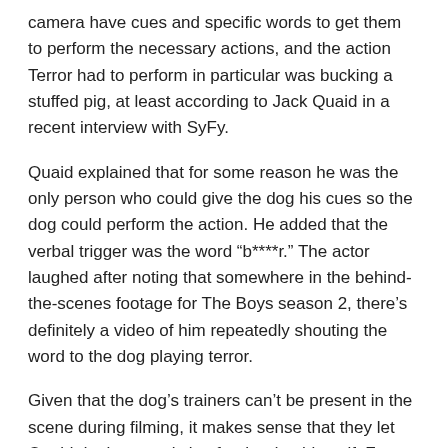camera have cues and specific words to get them to perform the necessary actions, and the action Terror had to perform in particular was bucking a stuffed pig, at least according to Jack Quaid in a recent interview with SyFy.
Quaid explained that for some reason he was the only person who could give the dog his cues so the dog could perform the action. He added that the verbal trigger was the word “b****r.” The actor laughed after noting that somewhere in the behind-the-scenes footage for The Boys season 2, there’s definitely a video of him repeatedly shouting the word to the dog playing terror.
Given that the dog’s trainers can’t be present in the scene during filming, it makes sense that they let Quaid do the actual clue for the dog himself. Forget the fact that it’s a pretty fun thing to think about seeing some behind-the-scenes footage. Either way, we’re sure to have more crazy stories from the cast of The Boys when the press for Season 3 gets underway soon.
Related Posts:
1. Top 10 best Yellow Dog Design hotplates 2021 – Bestgamingpro